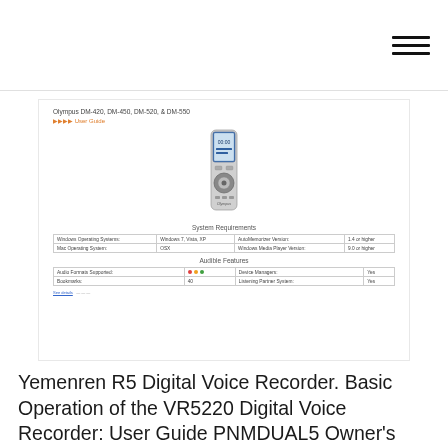[Figure (screenshot): Screenshot of an Olympus DM-420, DM-450, DM-520 & DM-550 user guide page showing a digital voice recorder photo, system requirements table, and audible features table]
Yemenren R5 Digital Voice Recorder. Basic Operation of the VR5220 Digital Voice Recorder: User Guide PNMDUAL5 Owner's Manual and Support for the RCA VR5220 Digital Voice Recorder: Basic  DIGITAL VOICE